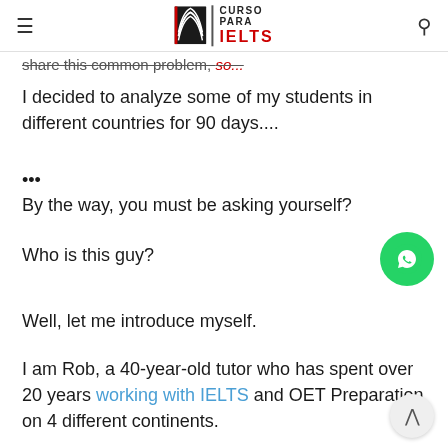CURSO PARA IELTS
share this common problem, so...
I decided to analyze some of my students in different countries for 90 days....
...
By the way, you must be asking yourself?
Who is this guy?
Well, let me introduce myself.
I am Rob, a 40-year-old tutor who has spent over 20 years working with IELTS and OET Preparation on 4 different continents.